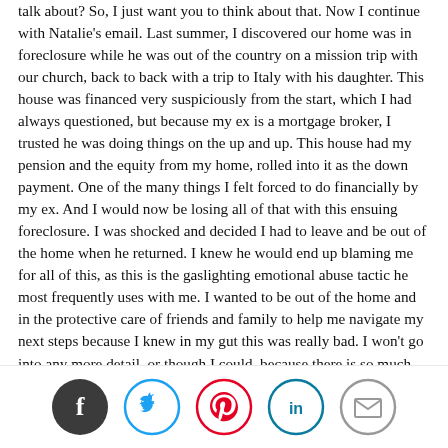talk about? So, I just want you to think about that. Now I continue with Natalie's email. Last summer, I discovered our home was in foreclosure while he was out of the country on a mission trip with our church, back to back with a trip to Italy with his daughter. This house was financed very suspiciously from the start, which I had always questioned, but because my ex is a mortgage broker, I trusted he was doing things on the up and up. This house had my pension and the equity from my home, rolled into it as the down payment. One of the many things I felt forced to do financially by my ex. And I would now be losing all of that with this ensuing foreclosure. I was shocked and decided I had to leave and be out of the home when he returned. I knew he would end up blaming me for all of this, as this is the gaslighting emotional abuse tactic he most frequently uses with me. I wanted to be out of the home and in the protective care of friends and family to help me navigate my next steps because I knew in my gut this was really bad. I won't go into any more detail, or though I could, because there is so much more. I just wanted to set the stage for my question. Now here is another important factor. I am a licensed psychologist. I'm going to repeat that everybody. And just before I go on I just have to say this again, so many times when I talk about financial abuse you say to me, or you think without voicing it, oh it must be about poor people. Must be about uneducated people. must be about people who are
[Figure (other): Social sharing icons row: Facebook (dark circle with f), Twitter (blue circle with bird), Pinterest (red circle with P), LinkedIn (teal circle with in), Email (gray circle with envelope)]